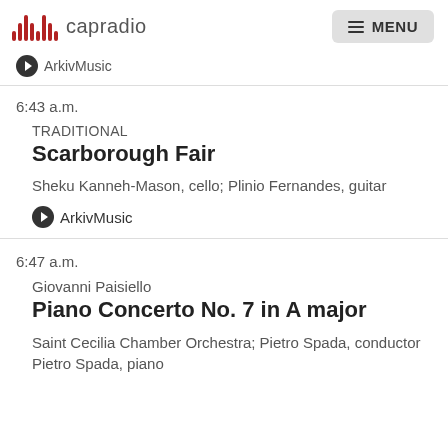capradio  MENU
ArkivMusic
6:43 a.m.
TRADITIONAL
Scarborough Fair
Sheku Kanneh-Mason, cello; Plinio Fernandes, guitar
ArkivMusic
6:47 a.m.
Giovanni Paisiello
Piano Concerto No. 7 in A major
Saint Cecilia Chamber Orchestra; Pietro Spada, conductor Pietro Spada, piano